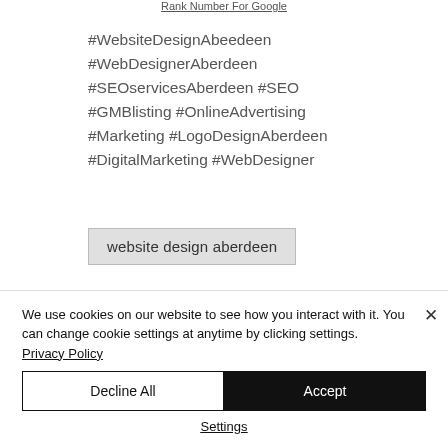Rank Number For Google
#WebsiteDesignAbeedeen
#WebDesignerAberdeen
#SEOservicesAberdeen #SEO
#GMBlisting #OnlineAdvertising
#Marketing #LogoDesignAberdeen
#DigitalMarketing #WebDesigner
website design aberdeen
We use cookies on our website to see how you interact with it. You can change cookie settings at anytime by clicking settings.
Privacy Policy
Decline All
Accept
Settings